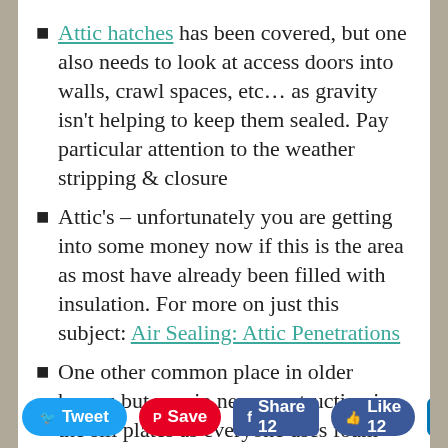Attic hatches has been covered, but one also needs to look at access doors into walls, crawl spaces, etc… as gravity isn't helping to keep them sealed. Pay particular attention to the weather stripping & closure
Attic's – unfortunately you are getting into some money now if this is the area as most have already been filled with insulation. For more on just this subject: Air Sealing: Attic Penetrations
One other common place in older homes but rare in new construction is the sill plates as everyone uses foam now… right? Oops they forgot, well you can pop the baseboard & caulk at the bottom (just do…) as between